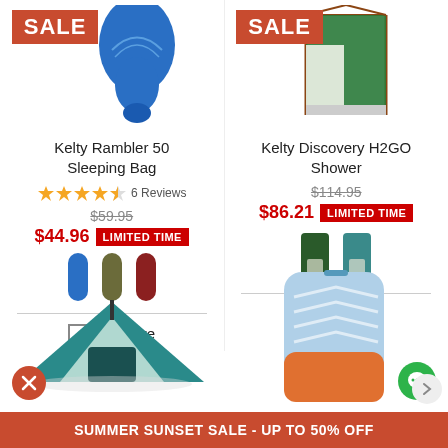[Figure (photo): Kelty Rambler 50 Sleeping Bag product photo (blue sleeping bag) with orange SALE badge]
[Figure (photo): Kelty Discovery H2GO Shower product photo (green camping shower tent) with orange SALE badge]
Kelty Rambler 50 Sleeping Bag
4.5 stars, 6 Reviews
$59.95 (strikethrough)
$44.96 LIMITED TIME
[Figure (photo): Three color swatches for sleeping bag: blue, olive, red]
Compare
Kelty Discovery H2GO Shower
$114.95 (strikethrough)
$86.21 LIMITED TIME
[Figure (photo): Two color swatches for H2GO Shower: dark green, teal/blue]
Compare
[Figure (photo): Kelty tent product photo, teal/beige dome tent]
[Figure (photo): Sleeping pad or sleeping bag product photo, blue and orange]
SUMMER SUNSET SALE - UP TO 50% OFF